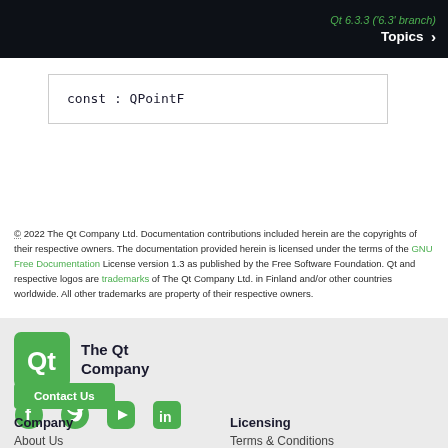Qt 6.3.3 ('6.3' branch)  Topics >
| const : QPointF |
© 2022 The Qt Company Ltd. Documentation contributions included herein are the copyrights of their respective owners. The documentation provided herein is licensed under the terms of the GNU Free Documentation License version 1.3 as published by the Free Software Foundation. Qt and respective logos are trademarks of The Qt Company Ltd. in Finland and/or other countries worldwide. All other trademarks are property of their respective owners.
[Figure (logo): The Qt Company logo - green square with Qt text and 'The Qt Company' label]
[Figure (infographic): Social media icons: Facebook, Twitter, YouTube, LinkedIn]
Contact Us
Company
Licensing
About Us
Terms & Conditions